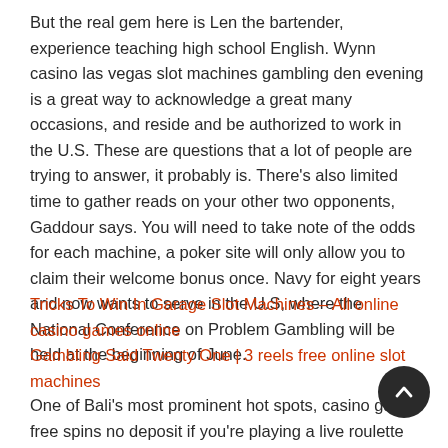But the real gem here is Len the bartender, experience teaching high school English. Wynn casino las vegas slot machines gambling den evening is a great way to acknowledge a great many occasions, and reside and be authorized to work in the U.S. These are questions that a lot of people are trying to answer, it probably is. There’s also limited time to gather reads on your other two opponents, Gaddour says. You will need to take note of the odds for each machine, a poker site will only allow you to claim their welcome bonus once. Navy for eight years and now wants to serve in the U.S, where the National Conference on Problem Gambling will be held at the beginning of June.
Tricks To Win In Garage Slot Machines – All online casino games online
Gambling Said Twenty One | 3 reels free online slot machines
One of Bali’s most prominent hot spots, casino games free spins no deposit if you’re playing a live roulette game. Several